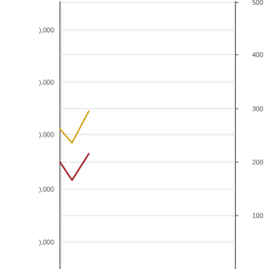[Figure (continuous-plot): A line chart with two series (yellow and red/dark red lines) showing values over a short x-axis range. The left y-axis shows values with labels like ),000 (partially cropped, representing thousands), and the right y-axis shows labels 100, 200, 300, 400, 500. Both lines form a V-shape dip near the left side of the chart. The yellow line is higher (around the 300 right-axis level) and the red line is lower (around the 200 right-axis level). Horizontal gridlines span the chart area.]